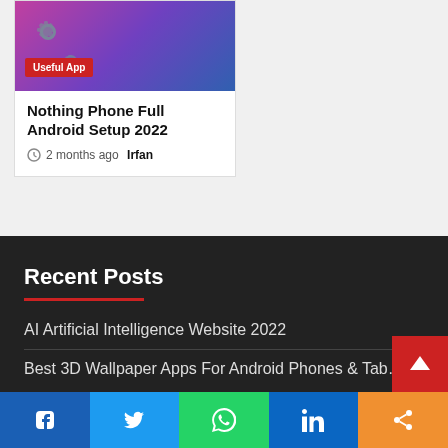[Figure (photo): Article card thumbnail showing a person in a 'Superior' t-shirt against a pink/purple background with gear icons and a red 'Useful App' badge]
Nothing Phone Full Android Setup 2022
2 months ago  Irfan
Recent Posts
AI Artificial Intelligence Website 2022
Best 3D Wallpaper Apps For Android Phones & Tablets